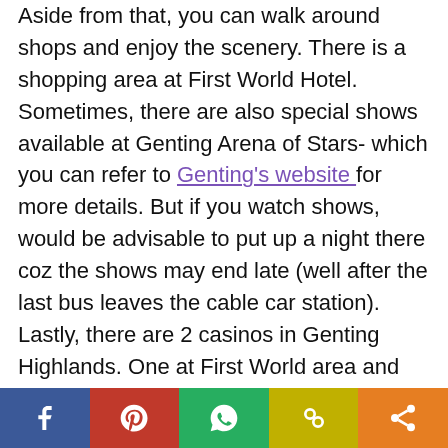Aside from that, you can walk around shops and enjoy the scenery. There is a shopping area at First World Hotel. Sometimes, there are also special shows available at Genting Arena of Stars- which you can refer to Genting's website for more details. But if you watch shows, would be advisable to put up a night there coz the shows may end late (well after the last bus leaves the cable car station). Lastly, there are 2 casinos in Genting Highlands. One at First World area and another at Genting. I honestly dislike gambling thought. But I go inside for the free drinks (coffee and tea are free). If you like the place, you can spend up to 2 days there.
[Figure (other): Social sharing footer bar with Facebook, Pinterest, WhatsApp, copy link, and share buttons]